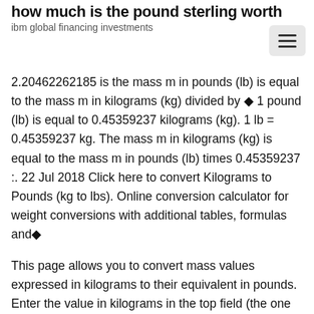how much is the pound sterling worth
ibm global financing investments
2.20462262185 is the mass m in pounds (lb) is equal to the mass m in kilograms (kg) divided by ◆ 1 pound (lb) is equal to 0.45359237 kilograms (kg). 1 lb = 0.45359237 kg. The mass m in kilograms (kg) is equal to the mass m in pounds (lb) times 0.45359237 :. 22 Jul 2018 Click here to convert Kilograms to Pounds (kg to lbs). Online conversion calculator for weight conversions with additional tables, formulas and◆
This page allows you to convert mass values expressed in kilograms to their equivalent in pounds. Enter the value in kilograms in the top field (the one marked◆ The pound or pound-mass is a unit of mass used in the imperial, United States customary and other systems of measurement. Various definitions have been used; the most common today is the international avoirdupois pound, which is legally defined as exactly 0.45359237 kilograms, The conversion factor between